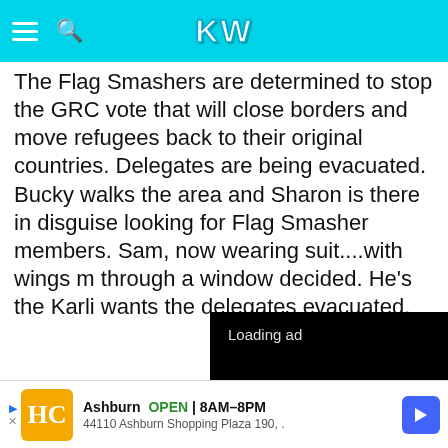KW
The Flag Smashers are determined to stop the GRC vote that will close borders and move refugees back to their original countries. Delegates are being evacuated. Bucky walks the area and Sharon is there in disguise looking for Flag Smasher members. Sam, now wearing suit....with wings m through a window decided. He's the Karli wants the delegates evacuated.
[Figure (screenshot): Video ad overlay showing 'Loading ad' text with spinning loader and playback controls (pause, fullscreen, mute) on black background]
[Figure (screenshot): Bottom banner advertisement: HC logo, Ashburn OPEN 8AM-8PM, 44110 Ashburn Shopping Plaza 190, with blue navigation arrow icon]